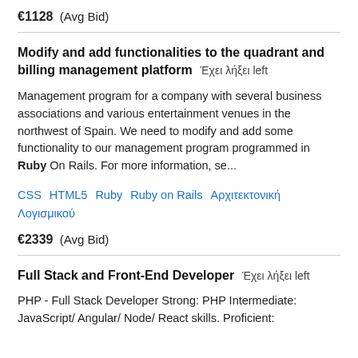€1128  (Avg Bid)
Modify and add functionalities to the quadrant and billing management platform  Έχει λήξει left
Management program for a company with several business associations and various entertainment venues in the northwest of Spain. We need to modify and add some functionality to our management program programmed in Ruby On Rails. For more information, se...
CSS   HTML5   Ruby   Ruby on Rails   Αρχιτεκτονική Λογισμικού
€2339  (Avg Bid)
Full Stack and Front-End Developer  Έχει λήξει left
PHP - Full Stack Developer Strong: PHP Intermediate: JavaScript/ Angular/ Node/ React skills. Proficient: